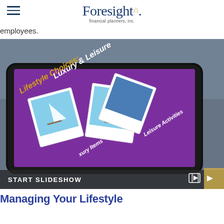Foresight financial planners, inc.
employees.
[Figure (photo): Person holding a tablet displaying a purple slideshow screen titled 'Lifestyle Choices: Luxury & Leisure' with polaroid-style photos of a sailboat and the Eiffel Tower, and text labels 'Leisure Activities' and 'Luxury Items'. A 'START SLIDESHOW' bar with a video icon appears at the bottom.]
Managing Your Lifestyle